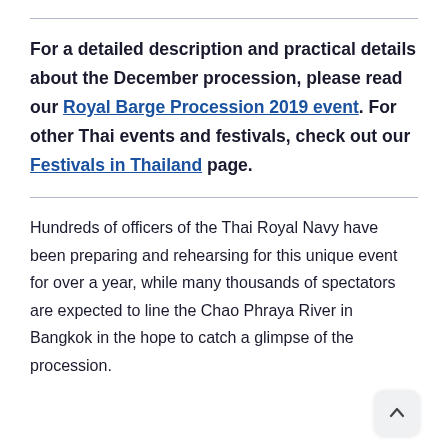For a detailed description and practical details about the December procession, please read our Royal Barge Procession 2019 event. For other Thai events and festivals, check out our Festivals in Thailand page.
Hundreds of officers of the Thai Royal Navy have been preparing and rehearsing for this unique event for over a year, while many thousands of spectators are expected to line the Chao Phraya River in Bangkok in the hope to catch a glimpse of the procession.